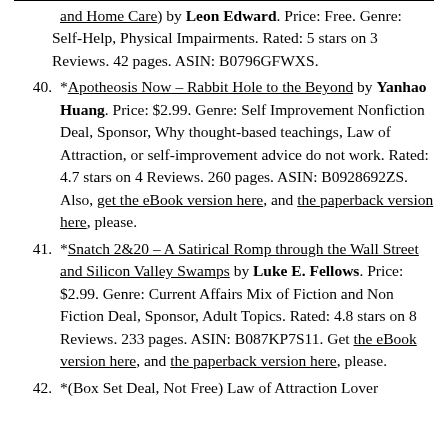and Home Care) by Leon Edward. Price: Free. Genre: Self-Help, Physical Impairments. Rated: 5 stars on 3 Reviews. 42 pages. ASIN: B0796GFWXS.
40. *Apotheosis Now – Rabbit Hole to the Beyond by Yanhao Huang. Price: $2.99. Genre: Self Improvement Nonfiction Deal, Sponsor, Why thought-based teachings, Law of Attraction, or self-improvement advice do not work. Rated: 4.7 stars on 4 Reviews. 260 pages. ASIN: B0928692ZS. Also, get the eBook version here, and the paperback version here, please.
41. *Snatch 2&20 – A Satirical Romp through the Wall Street and Silicon Valley Swamps by Luke E. Fellows. Price: $2.99. Genre: Current Affairs Mix of Fiction and Non Fiction Deal, Sponsor, Adult Topics. Rated: 4.8 stars on 8 Reviews. 233 pages. ASIN: B087KP7S11. Get the eBook version here, and the paperback version here, please.
42. *(Box Set Deal, Not Free) Law of Attraction Lover...